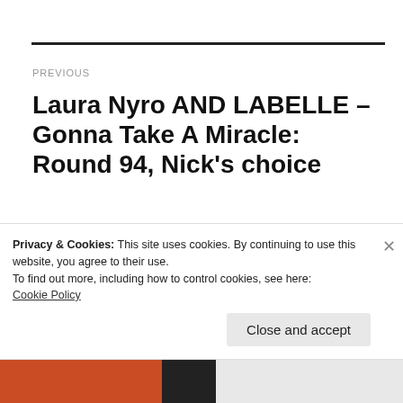PREVIOUS
Laura Nyro AND LABELLE – Gonna Take A Miracle: Round 94, Nick's choice
NEXT
Grimes – Art Angels: Round 95…
Privacy & Cookies: This site uses cookies. By continuing to use this website, you agree to their use.
To find out more, including how to control cookies, see here:
Cookie Policy
Close and accept